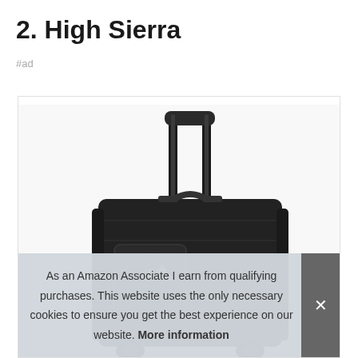2. High Sierra
#ad
[Figure (photo): High Sierra rolling luggage / wheeled backpack in black with extended telescoping handle, shown against white background]
As an Amazon Associate I earn from qualifying purchases. This website uses the only necessary cookies to ensure you get the best experience on our website. More information